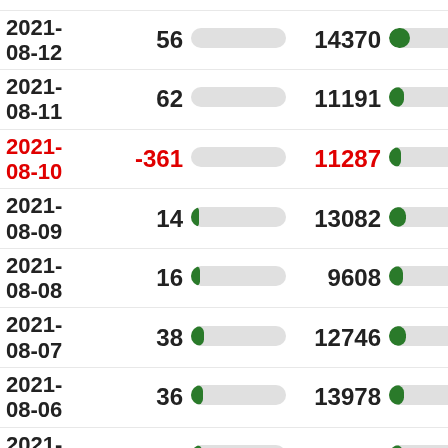| Date | Value1 | Bar1 | Value2 | Bar2 |
| --- | --- | --- | --- | --- |
| 2021-08-12 | 56 |  | 14370 |  |
| 2021-08-11 | 62 |  | 11191 |  |
| 2021-08-10 | -361 |  | 11287 |  |
| 2021-08-09 | 14 |  | 13082 |  |
| 2021-08-08 | 16 |  | 9608 |  |
| 2021-08-07 | 38 |  | 12746 |  |
| 2021-08-06 | 36 |  | 13978 |  |
| 2021-08-05 | 35 |  | 15153 |  |